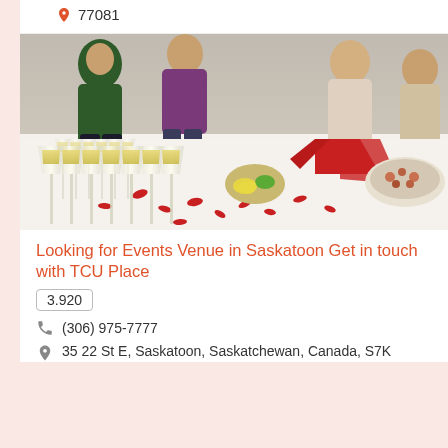77081
[Figure (photo): Event venue reception photo showing champagne flutes lined up on a white tablecloth with red rose petals, food platters, and people mingling in the background]
Looking for Events Venue in Saskatoon Get in touch with TCU Place
3.920
(306) 975-7777
35 22 St E, Saskatoon, Saskatchewan, Canada, S7K